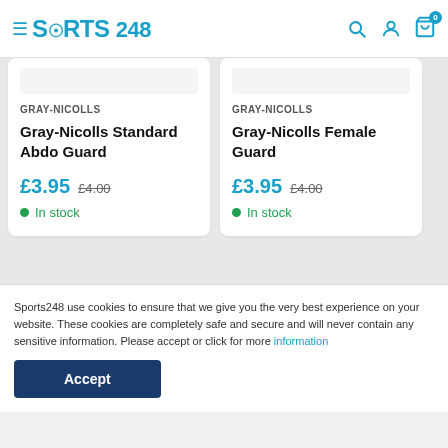Sports 248 — navigation header with logo, search, account, and cart icons
GRAY-NICOLLS
Gray-Nicolls Standard Abdo Guard
£3.95  £4.00  In stock
GRAY-NICOLLS
Gray-Nicolls Female Guard
£3.95  £4.00  In stock
Sports248 use cookies to ensure that we give you the very best experience on your website. These cookies are completely safe and secure and will never contain any sensitive information. Please accept or click for more information
Accept